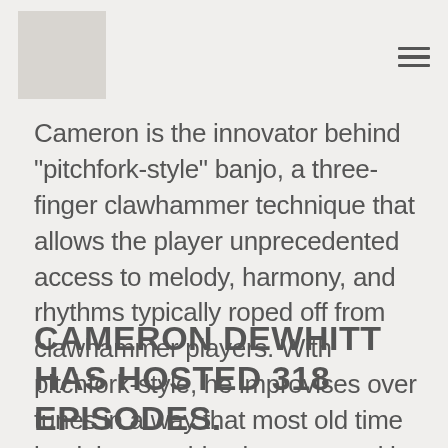Cameron is the innovator behind "pitchfork-style" banjo, a three-finger clawhammer technique that allows the player unprecedented access to melody, harmony, and rhythms typically roped off from clawhammer players. With pitchfork-style, he improvises over tunes in a way that most old time banjoists would only attempt with meticulous arrangement. In Cameron's hands, traditional melodies are transformed from repeated statements into philosophical discussions, accelerating the folk process in a single performance.
CAMERON DEWHITT HAS HOSTED 318 EPISODES.